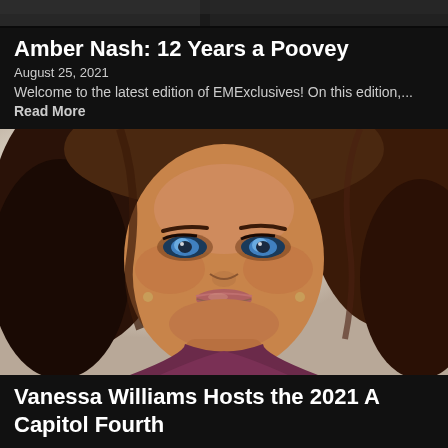[Figure (photo): Cropped top portion of a photo strip showing dark background with partial figure]
Amber Nash: 12 Years a Poovey
August 25, 2021
Welcome to the latest edition of EMExclusives! On this edition,...
Read More
[Figure (photo): Portrait photo of Vanessa Williams, a woman with blue eyes and brown wavy hair wearing a purple top, photographed against a white background]
Vanessa Williams Hosts the 2021 A Capitol Fourth